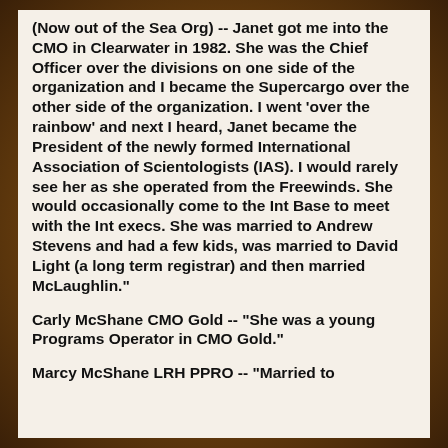(Now out of the Sea Org) -- Janet got me into the CMO in Clearwater in 1982. She was the Chief Officer over the divisions on one side of the organization and I became the Supercargo over the other side of the organization. I went 'over the rainbow' and next I heard, Janet became the President of the newly formed International Association of Scientologists (IAS). I would rarely see her as she operated from the Freewinds. She would occasionally come to the Int Base to meet with the Int execs. She was married to Andrew Stevens and had a few kids, was married to David Light (a long term registrar) and then married McLaughlin."
Carly McShane CMO Gold -- "She was a young Programs Operator in CMO Gold."
Marcy McShane LRH PPRO -- "Married to